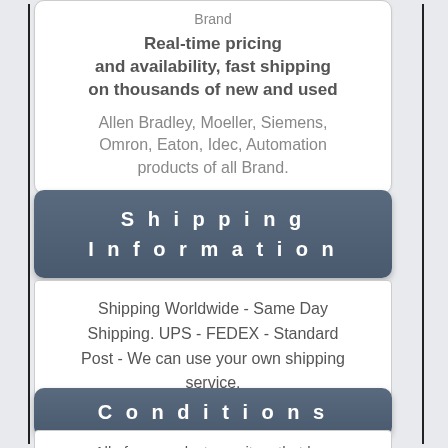Brand
Real-time pricing and availability, fast shipping on thousands of new and used
Allen Bradley, Moeller, Siemens, Omron, Eaton, Idec, Automation products of all Brand.
Shipping Information
Shipping Worldwide - Same Day Shipping. UPS - FEDEX - Standard Post - We can use your own shipping service.
Conditions
All of our products are item that has